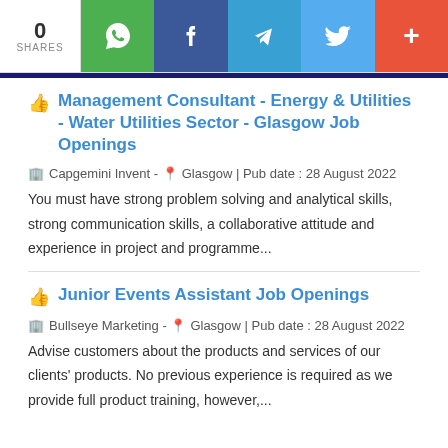0 SHARES | WhatsApp | Facebook | Telegram | Twitter | +
👍 Management Consultant - Energy & Utilities - Water Utilities Sector - Glasgow Job Openings
🏢 Capgemini Invent - 📍 Glasgow | Pub date : 28 August 2022
You must have strong problem solving and analytical skills, strong communication skills, a collaborative attitude and experience in project and programme...
👍 Junior Events Assistant Job Openings
🏢 Bullseye Marketing - 📍 Glasgow | Pub date : 28 August 2022
Advise customers about the products and services of our clients' products. No previous experience is required as we provide full product training, however,...